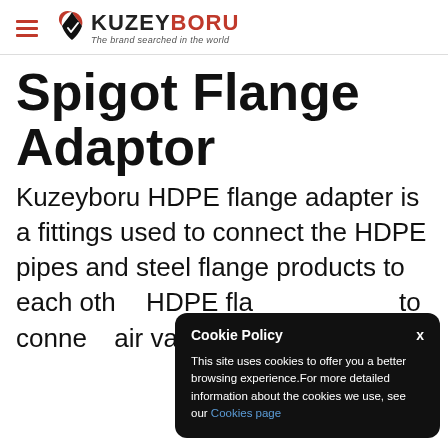KUZEYBORU — The brand searched in the world
Spigot Flange Adaptor
Kuzeyboru HDPE flange adapter is a fittings used to connect the HDPE pipes and steel flange products to each other. HDPE fla... to conne... air valve...
Cookie Policy
This site uses cookies to offer you a better browsing experience.For more detailed information about the cookies we use, see our Cookies page